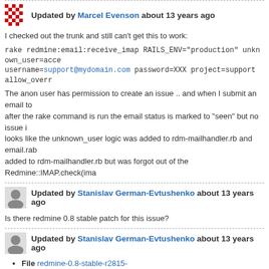Updated by Marcel Evenson about 13 years ago
I checked out the trunk and still can't get this to work:
rake redmine:email:receive_imap RAILS_ENV="production" unknown_user=accept username=support@mydomain.com password=XXX project=support allow_overridden_recipients=1
The anon user has permission to create an issue .. and when I submit an email to after the rake command is run the email status is marked to "seen" but no issue is looks like the unknown_user logic was added to rdm-mailhandler.rb and email.rab added to rdm-mailhandler.rb but was forgot out of the Redmine::IMAP.check(imap
Updated by Stanislav German-Evtushenko about 13 years ago
Is there redmine 0.8 stable patch for this issue?
Updated by Stanislav German-Evtushenko about 13 years ago
File redmine-0.8-stable-r2815-accept_incoming_emails_from_unknown_
Hello,
I did some little changes for ability to apply this patch for redmine-0.8-stable-r281
Have a nice day!
Stas
Updated by Alexander Pánek almost 13 years ago
File redmine-allow-anonymous-user-create-issues-in-private-project.diff
Attached is a patch that allows anonymous users to create issues in a private p